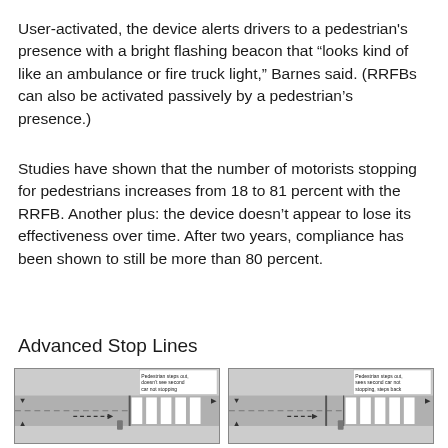User-activated, the device alerts drivers to a pedestrian's presence with a bright flashing beacon that “looks kind of like an ambulance or fire truck light,” Barnes said. (RRFBs can also be activated passively by a pedestrian's presence.)
Studies have shown that the number of motorists stopping for pedestrians increases from 18 to 81 percent with the RRFB. Another plus: the device doesn’t appear to lose its effectiveness over time. After two years, compliance has been shown to still be more than 80 percent.
Advanced Stop Lines
[Figure (illustration): Two side-by-side diagrams showing crosswalk scenarios. Left diagram: pedestrian steps out, doesn't see second car not stopping. Right diagram: pedestrian steps out, sees second car not stopping, steps back. Both show a crosswalk with hatched lane markings and arrows indicating car movement.]